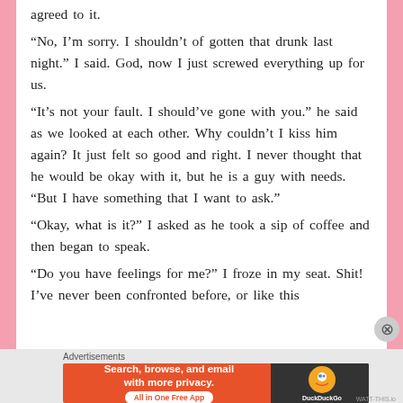agreed to it.
“No, I’m sorry. I shouldn’t of gotten that drunk last night.” I said. God, now I just screwed everything up for us.
“It’s not your fault. I should’ve gone with you.” he said as we looked at each other. Why couldn’t I kiss him again? It just felt so good and right. I never thought that he would be okay with it, but he is a guy with needs. “But I have something that I want to ask.”
“Okay, what is it?” I asked as he took a sip of coffee and then began to speak.
“Do you have feelings for me?” I froze in my seat. Shit! I’ve never been confronted before, or like this
[Figure (screenshot): DuckDuckGo advertisement banner: orange section on left with text 'Search, browse, and email with more privacy. All in One Free App' and dark section on right with DuckDuckGo logo]